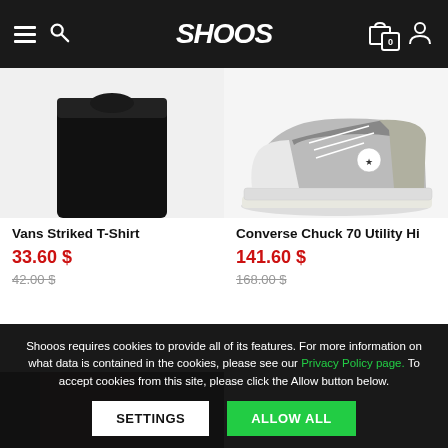SHOOOS — navigation header with hamburger, search, logo, cart (0), user icon
[Figure (photo): Partial view of a black t-shirt (Vans Striked T-Shirt) product image, cropped at top]
Vans Striked T-Shirt
33.60 $
42.00 $
[Figure (photo): Partial view of a gray/white Converse Chuck 70 sneaker product image, cropped at top]
Converse Chuck 70 Utility Hi
141.60 $
168.00 $
Shooos requires cookies to provide all of its features. For more information on what data is contained in the cookies, please see our Privacy Policy page. To accept cookies from this site, please click the Allow button below.